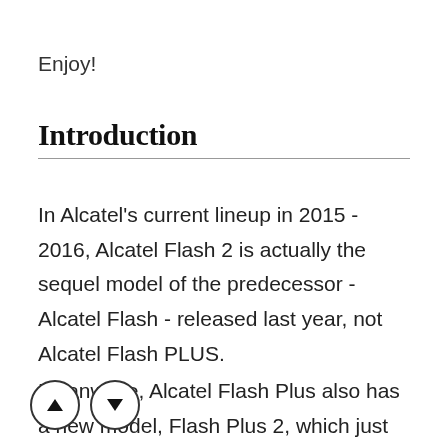Enjoy!
Introduction
In Alcatel's current lineup in 2015 - 2016, Alcatel Flash 2 is actually the sequel model of the predecessor - Alcatel Flash - released last year, not Alcatel Flash PLUS.
Meanwhile, Alcatel Flash Plus also has a new model, Flash Plus 2, which just